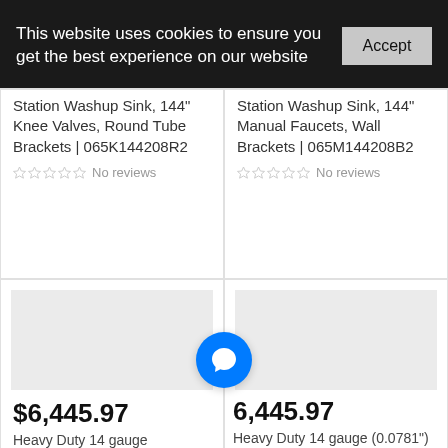This website uses cookies to ensure you get the best experience on our website
Accept
Station Washup Sink, 144" Knee Valves, Round Tube Brackets | 065K144208R2
No reviews
Station Washup Sink, 144" Manual Faucets, Wall Brackets | 065M144208B2
No reviews
[Figure (photo): Product image placeholder (gray box) for left bottom card]
$6,445.97
Heavy Duty 14 gauge
[Figure (photo): Product image placeholder (gray box) for right bottom card]
6,445.97
Heavy Duty 14 gauge (0.0781") Type 304